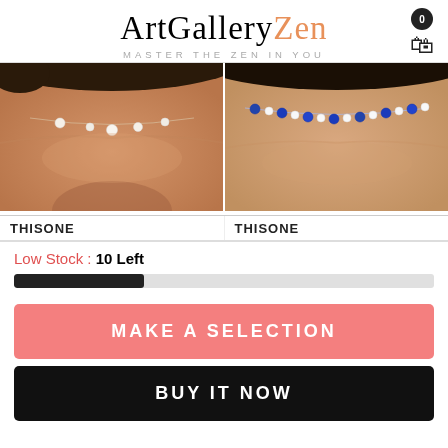ArtGalleryZen — MASTER THE ZEN IN YOU
[Figure (photo): Close-up of woman's neck/collarbone with a delicate pearl station necklace]
[Figure (photo): Close-up of woman's neck/collarbone with a blue sapphire and white gemstone tennis necklace]
THISONE
THISONE
Low Stock : 10 Left
MAKE A SELECTION
BUY IT NOW